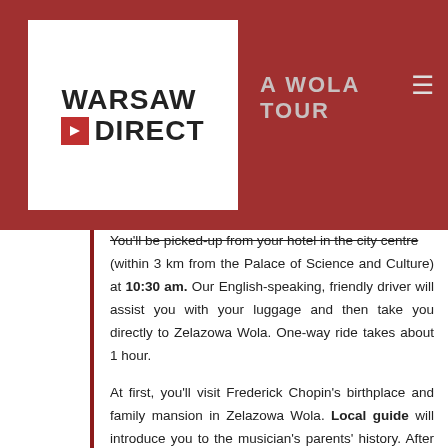[Figure (logo): Warsaw Direct logo — white box with bold sans-serif text: WARSAW above DIRECT, with a red square containing a white arrow to the left of DIRECT]
A WOLA TOUR
You'll be picked-up from your hotel in the city centre (within 3 km from the Palace of Science and Culture) at 10:30 am. Our English-speaking, friendly driver will assist you with your luggage and then take you directly to Zelazowa Wola. One-way ride takes about 1 hour.
At first, you'll visit Frederick Chopin's birthplace and family mansion in Zelazowa Wola. Local guide will introduce you to the musician's parents' history. After entering the mansion (museum), you'll see 3 halls: Chopin family's room, Mr Skarbek's study and Frederic Chopin's personal room, where annual Chopin concerts